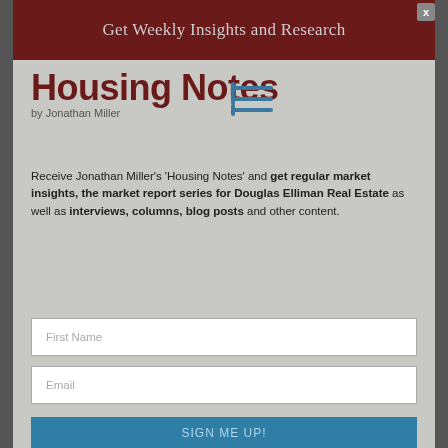Get Weekly Insights and Research
[Figure (logo): Housing Notes logo with blue horizontal lines icon and dark red bold text 'Housing Notes by Jonathan Miller']
Receive Jonathan Miller's 'Housing Notes' and get regular market insights, the market report series for Douglas Elliman Real Estate as well as interviews, columns, blog posts and other content.